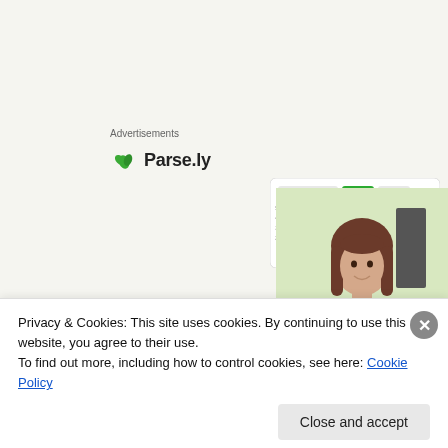Advertisements
[Figure (logo): Parse.ly logo with green leaf icon and bold text 'Parse.ly']
[Figure (screenshot): Parse.ly analytics dashboard screenshot showing a line chart with green area]
[Figure (photo): Woman with brown hair wearing a green sweater, smiling]
Content Analytics Made Easy
Privacy & Cookies: This site uses cookies. By continuing to use this website, you agree to their use.
To find out more, including how to control cookies, see here: Cookie Policy
Close and accept